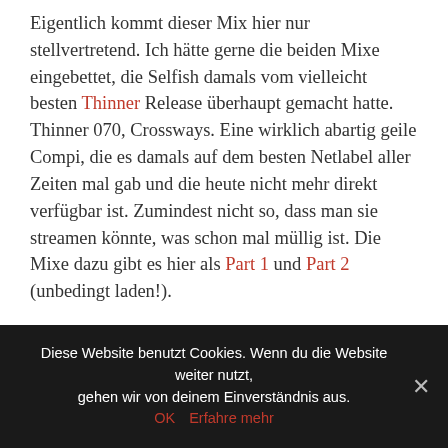Eigentlich kommt dieser Mix hier nur stellvertretend. Ich hätte gerne die beiden Mixe eingebettet, die Selfish damals vom vielleicht besten Thinner Release überhaupt gemacht hatte. Thinner 070, Crossways. Eine wirklich abartig geile Compi, die es damals auf dem besten Netlabel aller Zeiten mal gab und die heute nicht mehr direkt verfügbar ist. Zumindest nicht so, dass man sie streamen könnte, was schon mal müllig ist. Die Mixe dazu gibt es hier als Part 1 und Part 2 (unbedingt laden!).
Bis dahin bleibt nur dieser bescheidene Querschnitt durch das gemäßigte E-Dub-Universum von Thinner. So tief, damals so neu, so revolutionär. So verdammt anders als alle anderen Kinder.
Diese Website benutzt Cookies. Wenn du die Website weiter nutzt, gehen wir von deinem Einverständnis aus. OK Erfahre mehr